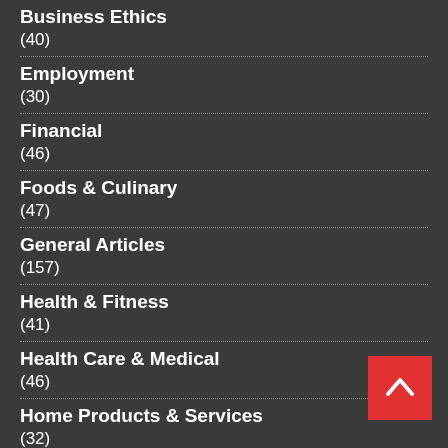Business Ethics
(40)
Employment
(30)
Financial
(46)
Foods & Culinary
(47)
General Articles
(157)
Health & Fitness
(41)
Health Care & Medical
(46)
Home Products & Services
(32)
Internet Services